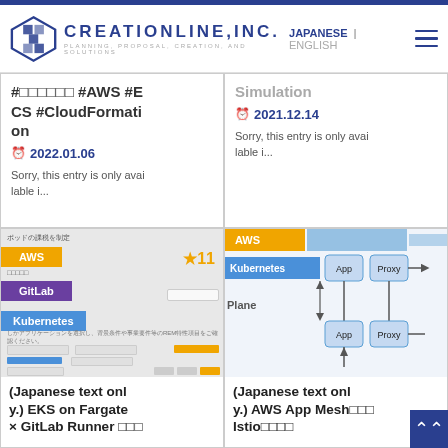JAPANESE | ENGLISH — CREATIONLINE, INC. PLANNING, PROPOSAL, CREATION, AND SOLUTIONS
#□□□□□□ #AWS #ECS #CloudFormation
2022.01.06
Sorry, this entry is only available i...
Simulation
2021.12.14
Sorry, this entry is only available i...
[Figure (screenshot): Screenshot of an AWS web console or form with tags: AWS (orange), GitLab (purple), Kubernetes (blue). Star rating showing 11.]
(Japanese text only.) EKS on Fargate × GitLab Runner □□□
[Figure (engineering-diagram): AWS App Mesh / Istio architecture diagram showing Kubernetes plane with App and Proxy nodes connected by arrows.]
(Japanese text only.) AWS App Mesh□□□ Istio□□□□